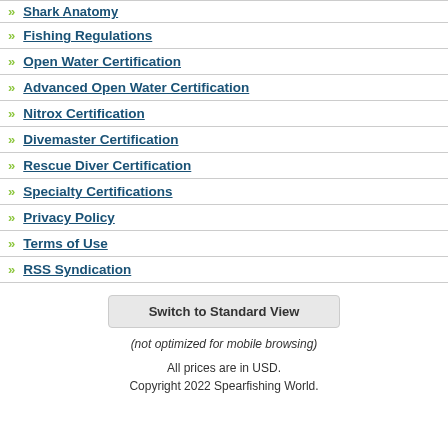Shark Anatomy
Fishing Regulations
Open Water Certification
Advanced Open Water Certification
Nitrox Certification
Divemaster Certification
Rescue Diver Certification
Specialty Certifications
Privacy Policy
Terms of Use
RSS Syndication
Switch to Standard View
(not optimized for mobile browsing)
All prices are in USD.
Copyright 2022 Spearfishing World.